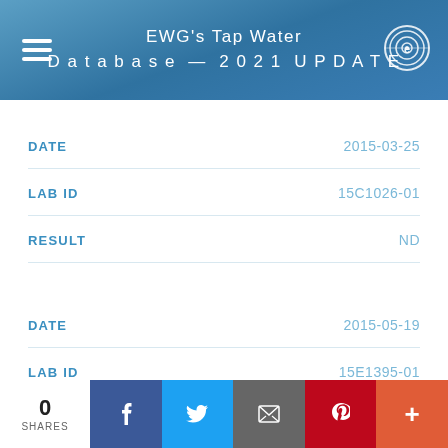EWG's Tap Water Database — 2021 UPDATE
| Field | Value |
| --- | --- |
| DATE | 2015-03-25 |
| LAB ID | 15C1026-01 |
| RESULT | ND |
| Field | Value |
| --- | --- |
| DATE | 2015-05-19 |
| LAB ID | 15E1395-01 |
| RESULT | ND |
0 SHARES  Facebook  Twitter  Email  Pinterest  More